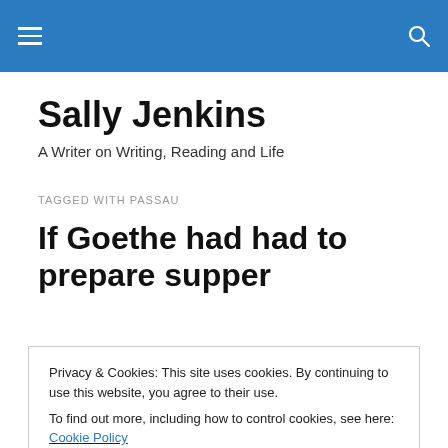Sally Jenkins — navigation bar with hamburger menu and search icon
Sally Jenkins
A Writer on Writing, Reading and Life
TAGGED WITH PASSAU
If Goethe had had to prepare supper
Privacy & Cookies: This site uses cookies. By continuing to use this website, you agree to their use.
To find out more, including how to control cookies, see here: Cookie Policy
Close and accept
although my leg muscles were exhausted by the end of